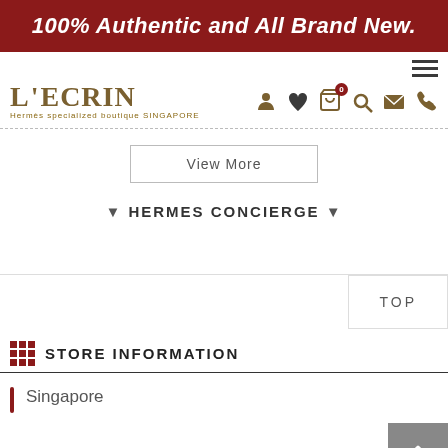100% Authentic and All Brand New.
[Figure (logo): L'ECRIN Hermes specialized boutique SINGAPORE logo with navigation icons (user, heart, cart with badge 0, search, email, phone)]
View More
▼ HERMES CONCIERGE ▼
TOP
STORE INFORMATION
Singapore
L'ecrin Boutique Singapore
+65 6883 1161